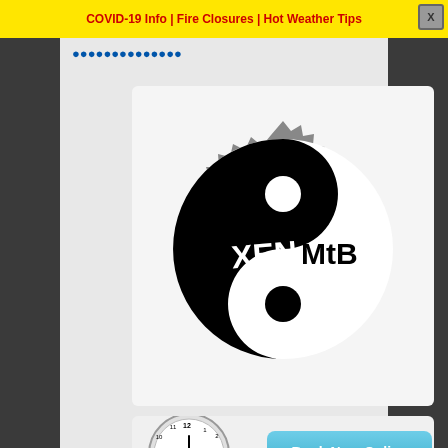COVID-19 Info | Fire Closures | Hot Weather Tips
[Figure (logo): XEN MTB logo: a gear/sprocket with yin-yang design, black half labeled XEN and white half labeled MTB]
[Figure (infographic): Book Now Online button with clock and calendar showing May 15]